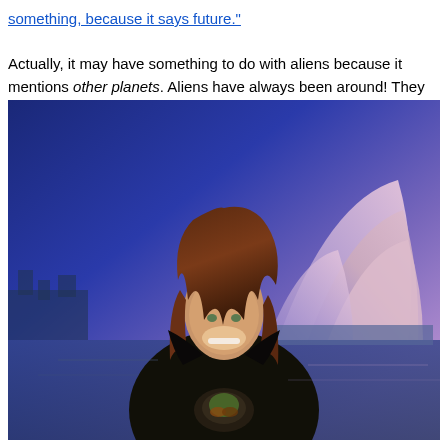something, because it says future." Actually, it may have something to do with aliens because it mentions other planets. Aliens have always been around! They transcend time, damn it!
[Figure (photo): A smiling young woman with long brown hair wearing a black sleeveless top with a decorative design, standing in front of a background showing the Sydney Opera House lit in blue and purple tones at night.]